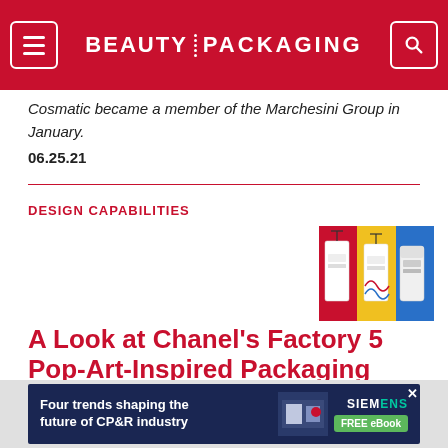BEAUTY PACKAGING
Cosmatic became a member of the Marchesini Group in January.
06.25.21
DESIGN CAPABILITIES
[Figure (photo): Chanel Factory 5 products: white bottles/tubes with colorful pop-art inspired backgrounds in red, yellow, and blue]
A Look at Chanel's Factory 5 Pop-Art-Inspired Packaging
Chanel manages to make shower gel in a paint can look luxurious.
[Figure (screenshot): Advertisement banner: Four trends shaping the future of CP&R industry - Siemens FREE eBook]